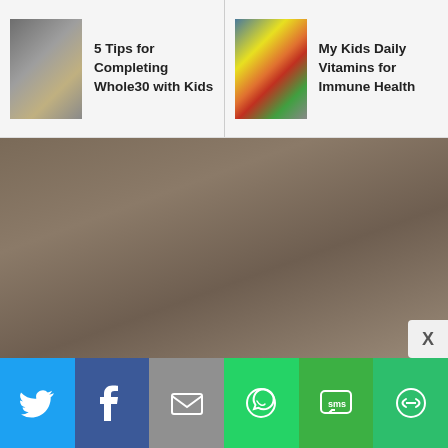[Figure (screenshot): Navigation card: thumbnail of food dishes with text '5 Tips for Completing Whole30 with Kids']
5 Tips for Completing Whole30 with Kids
[Figure (screenshot): Navigation card: thumbnail of vitamins/supplements with text 'My Kids Daily Vitamins for Immune Health']
My Kids Daily Vitamins for Immune Health
[Figure (photo): Large brownish/tan blurred background image taking up most of the page]
[Figure (infographic): Social share bar with Twitter, Facebook, Email, WhatsApp, SMS, and More sharing buttons]